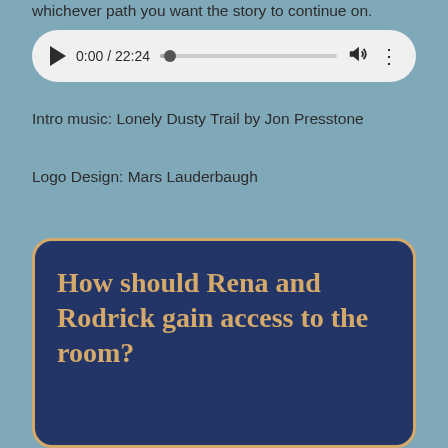whichever path you want the story to continue on.
[Figure (other): Audio player widget showing 0:00 / 22:24 with play button, progress bar, volume icon, and options dots]
Intro music: Lonely Dusty Trail by Jon Presstone
Logo Design: Mars Lauderbaugh
How should Rena and Rodrick gain access to the room?